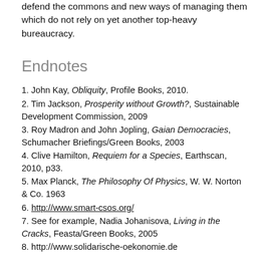defend the commons and new ways of managing them which do not rely on yet another top-heavy bureaucracy.
Endnotes
1. John Kay, Obliquity, Profile Books, 2010.
2. Tim Jackson, Prosperity without Growth?, Sustainable Development Commission, 2009
3. Roy Madron and John Jopling, Gaian Democracies, Schumacher Briefings/Green Books, 2003
4. Clive Hamilton, Requiem for a Species, Earthscan, 2010, p33.
5. Max Planck, The Philosophy Of Physics, W. W. Norton & Co. 1963
6. http://www.smart-csos.org/
7. See for example, Nadia Johanisova, Living in the Cracks, Feasta/Green Books, 2005
8. http://www.solidarische-oekonomie.de